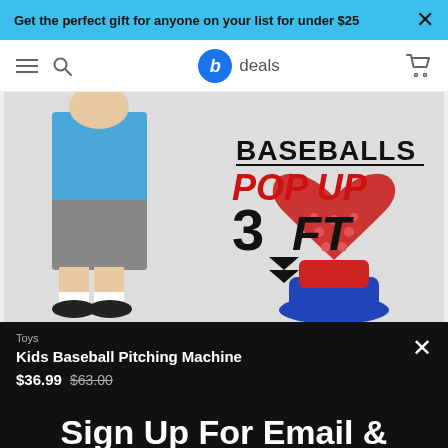Get the perfect gift for anyone on your list for under $25
b deals — navigation bar with hamburger, search, logo, cart
[Figure (photo): Kid in blue shirt and gray shorts standing next to a red and blue Kids Baseball Pitching Machine toy. Text overlay: BASEBALLS POP UP 3FT with downward arrows.]
Toys
Kids Baseball Pitching Machine
$36.99  $63.00
Sign Up For Email & Texts To Unlock 10% Off